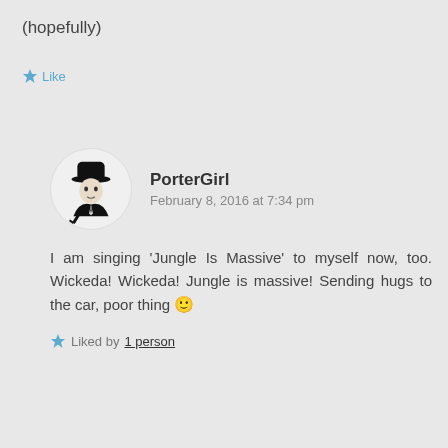(hopefully)
Like
PorterGirl
February 8, 2016 at 7:34 pm
I am singing 'Jungle Is Massive' to myself now, too. Wickeda! Wickeda! Jungle is massive! Sending hugs to the car, poor thing 🙂
Liked by 1 person